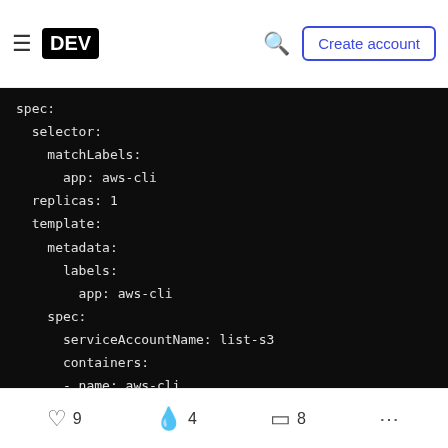DEV | Create account
[Figure (screenshot): Code block showing YAML Kubernetes deployment spec with dark background. Contains: spec:, selector:, matchLabels:, app: aws-cli, replicas: 1, template:, metadata:, labels:, app: aws-cli, spec:, serviceAccountName: list-s3, containers:, - name: aws-cli, image: amazon/aws-cli, command: [ "/bin/bash", "-c", "--" ], args: [ "while true; do sleep 30; done;]
9 likes  4 reactions  8 bookmarks  ...